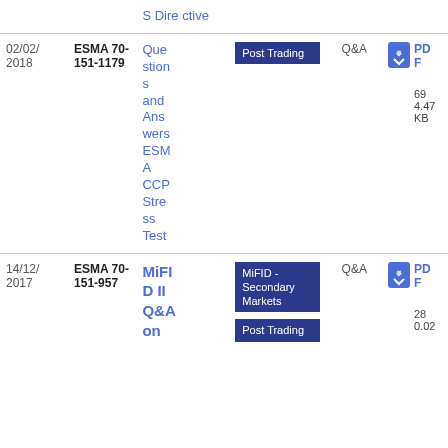| Date | Reference | Title | Tags | Type | Download |
| --- | --- | --- | --- | --- | --- |
| 02/02/2018 | ESMA 70-151-1179 | Questions and Answers ESMA CCP Stress Test | Post Trading | Q&A | PDF 6944.47 KB |
| 14/12/2017 | ESMA 70-151-957 | MiFID II Q&A on | MiFID - Secondary Markets / Post Trading | Q&A | PDF 280.02 |